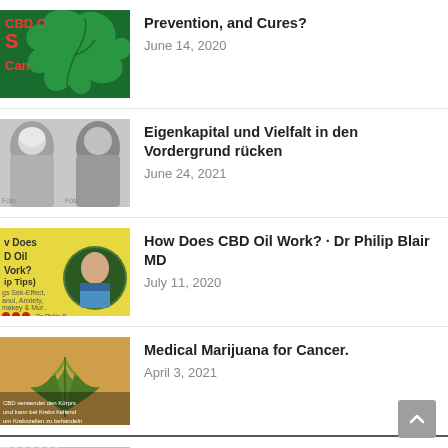Prevention, and Cures?
June 14, 2020
Eigenkapital und Vielfalt in den Vordergrund rücken
June 24, 2021
How Does CBD Oil Work? · Dr Philip Blair MD
July 11, 2020
Medical Marijuana for Cancer.
April 3, 2021
Long Term Effects of Marijuana (Cannabis)
January 2, 2021